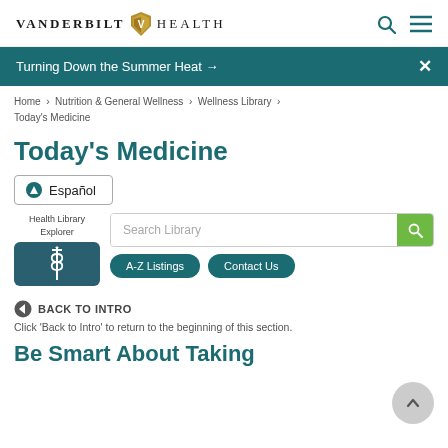VANDERBILT HEALTH
Turning Down the Summer Heat →
Home › Nutrition & General Wellness › Wellness Library › Today's Medicine
Today's Medicine
Español
Health Library Explorer
Search Library
A-Z Listings  Contact Us
BACK TO INTRO
Click 'Back to Intro' to return to the beginning of this section.
Be Smart About Taking